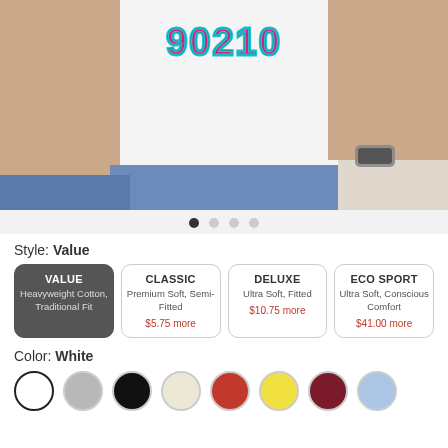[Figure (photo): Man wearing a white t-shirt with pink and teal graffiti-style text reading '90210', cropped from chest to waist, wearing jeans and a watch.]
Style: Value
VALUE Heavyweight Cotton, Traditional Fit (selected)
CLASSIC Premium Soft, Semi-Fitted $5.75 more
DELUXE Ultra Soft, Fitted $10.75 more
ECO SPORT Ultra Soft, Conscious Comfort $41.00 more
Color: White
Color swatches: White (selected), Gray, Black, Cream, Red, Yellow, Maroon, Light Blue